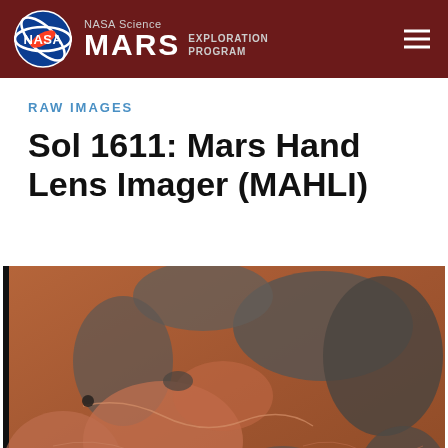NASA Science MARS EXPLORATION PROGRAM
RAW IMAGES
Sol 1611: Mars Hand Lens Imager (MAHLI)
[Figure (photo): Close-up photograph of Mars surface rock taken by the Mars Hand Lens Imager (MAHLI) instrument on Sol 1611. The image shows reddish-brown rocky terrain with dark grey patches, cracks, and detailed surface texture of Martian rock.]